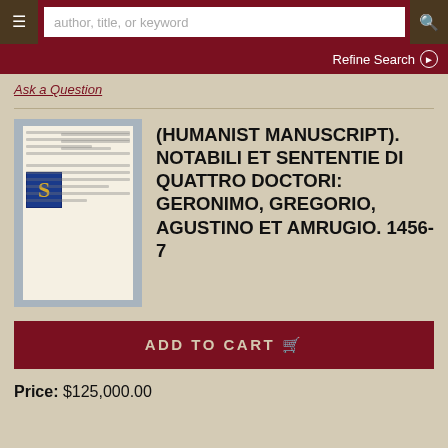author, title, or keyword
Refine Search ▶
Ask a Question
(HUMANIST MANUSCRIPT). NOTABILI ET SENTENTIE DI QUATTRO DOCTORI: GERONIMO, GREGORIO, AGUSTINO ET AMRUGIO. 1456-7
[Figure (photo): Photograph of an open illuminated manuscript page showing handwritten text in humanist script with a decorated blue initial letter 'S' in gold and colors, from 1456-7.]
ADD TO CART
Price: $125,000.00